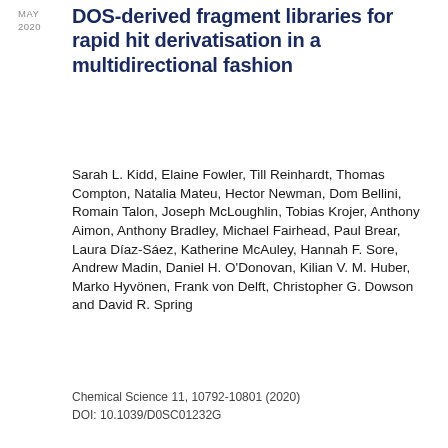MAY 2020
DOS-derived fragment libraries for rapid hit derivatisation in a multidirectional fashion
Sarah L. Kidd, Elaine Fowler, Till Reinhardt, Thomas Compton, Natalia Mateu, Hector Newman, Dom Bellini, Romain Talon, Joseph McLoughlin, Tobias Krojer, Anthony Aimon, Anthony Bradley, Michael Fairhead, Paul Brear, Laura Díaz-Sáez, Katherine McAuley, Hannah F. Sore, Andrew Madin, Daniel H. O'Donovan, Kilian V. M. Huber, Marko Hyvönen, Frank von Delft, Christopher G. Dowson and David R. Spring
Chemical Science 11, 10792-10801 (2020)
DOI: 10.1039/D0SC01232G